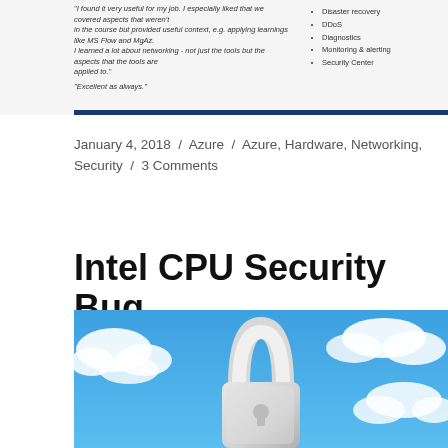[Figure (screenshot): Top banner with two testimonial quotes on the left and a bulleted list (Disaster recovery, DDoS, Diagnostics, Monitoring & alerting, Security Center) on the right, with a dark blue horizontal bar at the bottom.]
January 4, 2018 / Azure / Azure, Hardware, Networking, Security / 3 Comments
Intel CPU Security Bug
[Figure (photo): A large white padlock floating against a bright blue sky with white clouds in the background.]